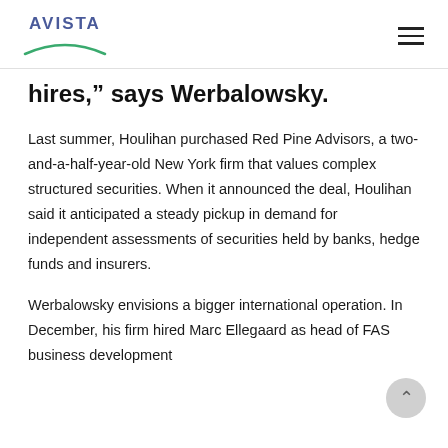AVISTA
hires,” says Werbalowsky.
Last summer, Houlihan purchased Red Pine Advisors, a two-and-a-half-year-old New York firm that values complex structured securities. When it announced the deal, Houlihan said it anticipated a steady pickup in demand for independent assessments of securities held by banks, hedge funds and insurers.
Werbalowsky envisions a bigger international operation. In December, his firm hired Marc Ellegaard as head of FAS business development